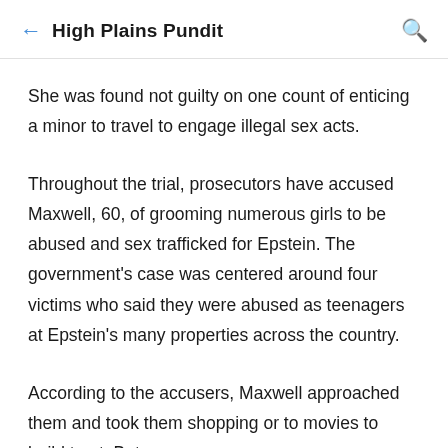High Plains Pundit
She was found not guilty on one count of enticing a minor to travel to engage illegal sex acts.
Throughout the trial, prosecutors have accused Maxwell, 60, of grooming numerous girls to be abused and sex trafficked for Epstein. The government's case was centered around four victims who said they were abused as teenagers at Epstein's many properties across the country.
According to the accusers, Maxwell approached them and took them shopping or to movies to build trust. But